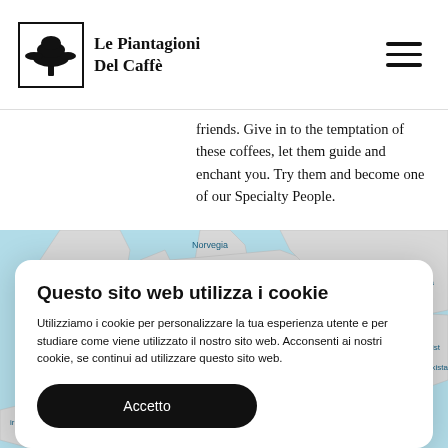Le Piantagioni Del Caffè
friends. Give in to the temptation of these coffees, let them guide and enchant you. Try them and become one of our Specialty People.
[Figure (map): World map showing Europe with labels: Norvegia, Regno Unito, Polonia, Germania, Ucraina, azakista, Brasile, Tanzania, and other partially visible country names. Map uses a light blue/teal color scheme for water and light gray for land.]
Questo sito web utilizza i cookie
Utilizziamo i cookie per personalizzare la tua esperienza utente e per studiare come viene utilizzato il nostro sito web. Acconsenti ai nostri cookie, se continui ad utilizzare questo sito web.
Accetto